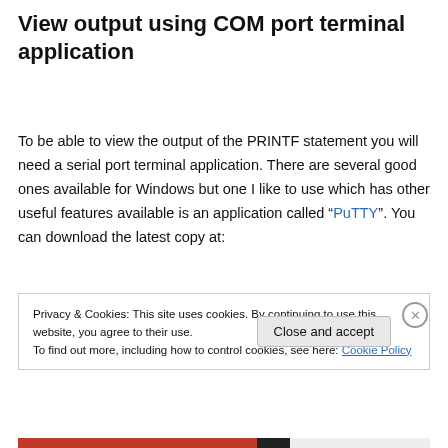View output using COM port terminal application
To be able to view the output of the PRINTF statement you will need a serial port terminal application. There are several good ones available for Windows but one I like to use which has other useful features available is an application called “PuTTY”. You can download the latest copy at:
Privacy & Cookies: This site uses cookies. By continuing to use this website, you agree to their use.
To find out more, including how to control cookies, see here: Cookie Policy
Close and accept